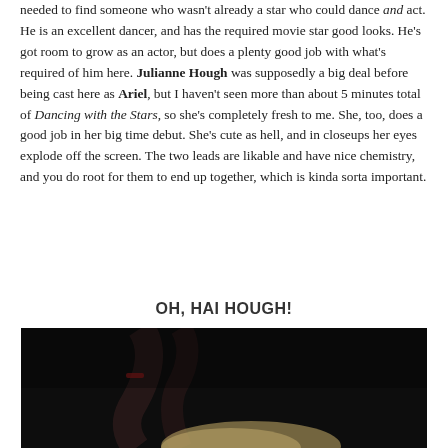needed to find someone who wasn't already a star who could dance and act. He is an excellent dancer, and has the required movie star good looks. He's got room to grow as an actor, but does a plenty good job with what's required of him here. Julianne Hough was supposedly a big deal before being cast here as Ariel, but I haven't seen more than about 5 minutes total of Dancing with the Stars, so she's completely fresh to me. She, too, does a good job in her big time debut. She's cute as hell, and in closeups her eyes explode off the screen. The two leads are likable and have nice chemistry, and you do root for them to end up together, which is kinda sorta important.
OH, HAI HOUGH!
[Figure (photo): A dark photograph showing a person with blonde hair, with raised arms/hands visible in the foreground against a dark background.]